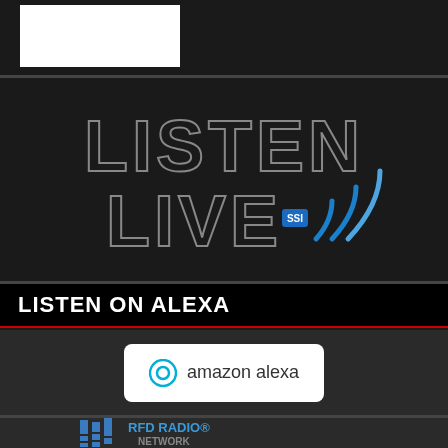[Figure (logo): White rectangle logo placeholder on dark background]
[Figure (logo): LISTEN LIVE logo with SSI branding and blue wifi/signal waves on dark background]
LISTEN ON ALEXA
[Figure (logo): Amazon Alexa logo in white rounded rectangle on dark background]
[Figure (logo): RFD Radio Network logo with equalizer bars and text 'Together, We Cover Illinois An Better']